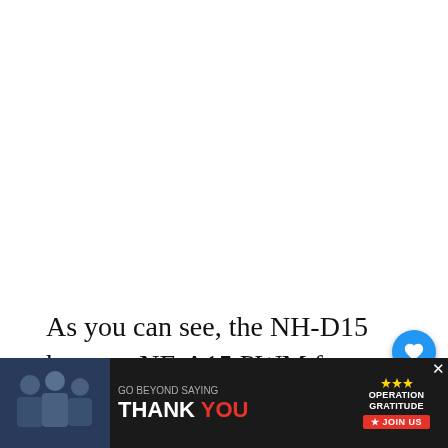[Figure (photo): Large white/blank area taking up top portion of the page — likely a photo or image placeholder that loaded as blank]
As you can see, the NH-D15 has two NF-A15 PWM fans that cool the towers, delivering 140.2 airflow — In terms of 24.6
[Figure (infographic): Advertisement banner at bottom: 'GO BEYOND SAYING THANK YOU' with Operation Gratitude logo and JOIN US button on dark background. People in jackets shown on left side.]